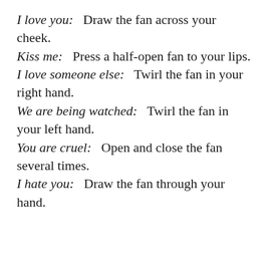I love you:   Draw the fan across your cheek.
Kiss me:   Press a half-open fan to your lips.
I love someone else:   Twirl the fan in your right hand.
We are being watched:   Twirl the fan in your left hand.
You are cruel:   Open and close the fan several times.
I hate you:   Draw the fan through your hand.